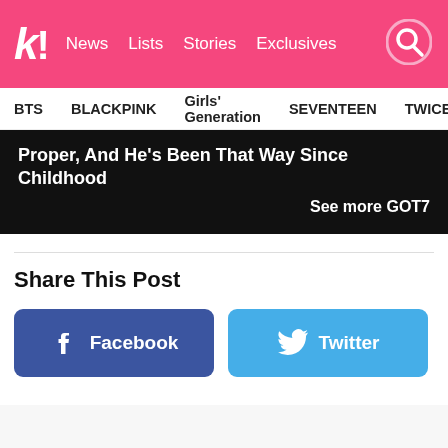k! News Lists Stories Exclusives
BTS BLACKPINK Girls' Generation SEVENTEEN TWICE
Proper, And He's Been That Way Since Childhood
See more GOT7
Share This Post
Facebook
Twitter
FOR YOU